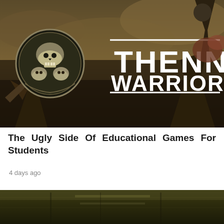[Figure (illustration): Fantasy warrior banner image with text 'THENN WARRIORS' overlaid on a dark battle scene with skull emblem and Viking-like warriors holding axes and spears]
The Ugly Side Of Educational Games For Students
4 days ago
[Figure (photo): Partial view of a dark fantasy scene, appears to be the top of a second article image with dark greenish-brown tones]